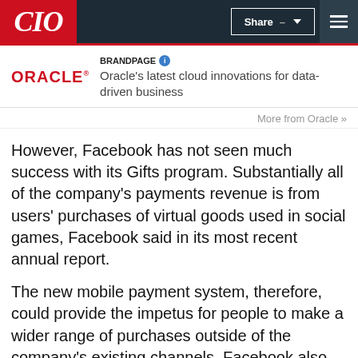CIO
[Figure (logo): Oracle logo with red ORACLE text and registered trademark symbol]
BRANDPAGE  Oracle's latest cloud innovations for data-driven business
More from Oracle »
However, Facebook has not seen much success with its Gifts program. Substantially all of the company's payments revenue is from users' purchases of virtual goods used in social games, Facebook said in its most recent annual report.
The new mobile payment system, therefore, could provide the impetus for people to make a wider range of purchases outside of the company's existing channels. Facebook also could gain more information about its users' buying habits through the program, which could be used to serve up targeted advertising.